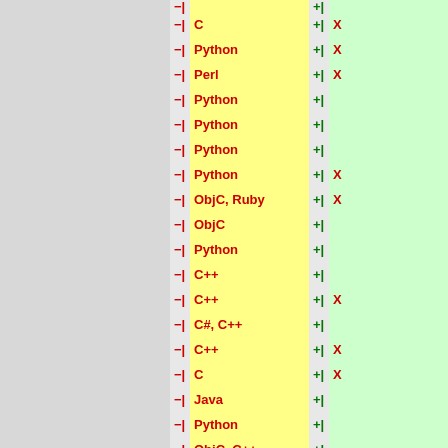| - | Language | + | X |
| --- | --- | --- | --- |
| −| | C | +| | X |
| −| | Python | +| | X |
| −| | Perl | +| | X |
| −| | Python | +| |  |
| −| | Python | +| |  |
| −| | Python | +| |  |
| −| | Python | +| | X |
| −| | ObjC, Ruby | +| | X |
| −| | ObjC | +| |  |
| −| | Python | +| |  |
| −| | C++ | +| |  |
| −| | C++ | +| | X |
| −| | C#, C++ | +| |  |
| −| | C++ | +| | X |
| −| | C | +| | X |
| −| | Java | +| |  |
| −| | Python | +| |  |
| −| | ObjC, C++ | +| |  |
| −| | Java | +| |  |